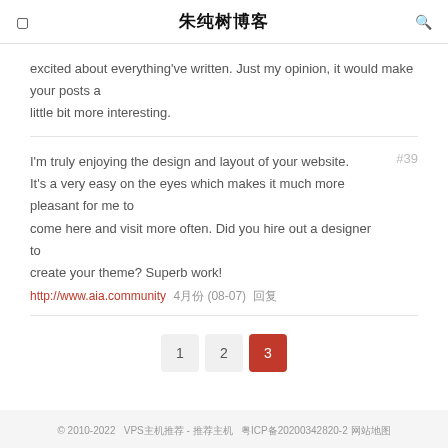朱纯树博客
excited about everything've written. Just my opinion, it would make your posts a little bit more interesting.
I'm truly enjoying the design and layout of your website. It's a very easy on the eyes which makes it much more pleasant for me to come here and visit more often. Did you hire out a designer to create your theme? Superb work!
http://www.aia.community  4月份 (08-07)  回复
1  2  3
© 2010-2022   VPS主机推荐 - 推荐主机   粤ICP备20200342820-2 网站地图